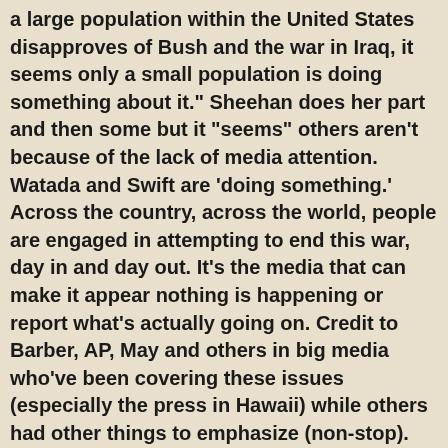a large population within the United States disapproves of Bush and the war in Iraq, it seems only a small population is doing something about it." Sheehan does her part and then some but it "seems" others aren't because of the lack of media attention. Watada and Swift are 'doing something.' Across the country, across the world, people are engaged in attempting to end this war, day in and day out. It's the media that can make it appear nothing is happening or report what's actually going on. Credit to Barber, AP, May and others in big media who've been covering these issues (especially the press in Hawaii) while others had other things to emphasize (non-stop). Or, as Molly Ivins points out: "The more surprising development is how completely one story drives out another. At other times, the collapse of Iraq would have been news." A collapse that has included, as Riverbend (Baghdad Burning) wrote, "There are no laws that say we have to wear a hijab (yet), but there are men in head-to-toe black and the turbans, the extremists and fanatics who were libearted by the occupation, and at some point, you tire of the defiance. You no longer want to be seen. I feel like the